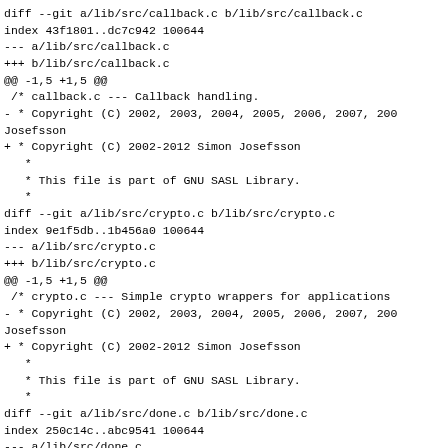diff --git a/lib/src/callback.c b/lib/src/callback.c
index 43f1801..dc7c942 100644
--- a/lib/src/callback.c
+++ b/lib/src/callback.c
@@ -1,5 +1,5 @@
 /* callback.c --- Callback handling.
- * Copyright (C) 2002, 2003, 2004, 2005, 2006, 2007, 200 Josefsson
+ * Copyright (C) 2002-2012 Simon Josefsson
   *
   * This file is part of GNU SASL Library.
   *
diff --git a/lib/src/crypto.c b/lib/src/crypto.c
index 9e1f5db..1b456a0 100644
--- a/lib/src/crypto.c
+++ b/lib/src/crypto.c
@@ -1,5 +1,5 @@
 /* crypto.c --- Simple crypto wrappers for applications
- * Copyright (C) 2002, 2003, 2004, 2005, 2006, 2007, 200 Josefsson
+ * Copyright (C) 2002-2012 Simon Josefsson
   *
   * This file is part of GNU SASL Library.
   *
diff --git a/lib/src/done.c b/lib/src/done.c
index 250c14c..abc9541 100644
--- a/lib/src/done.c
+++ b/lib/src/done.c
@@ -1,5 +1,5 @@
 /* done.c --- Exit point for libgsasl.
- * Copyright (C) 2002, 2003, 2004, 2005, 2006, 2007,